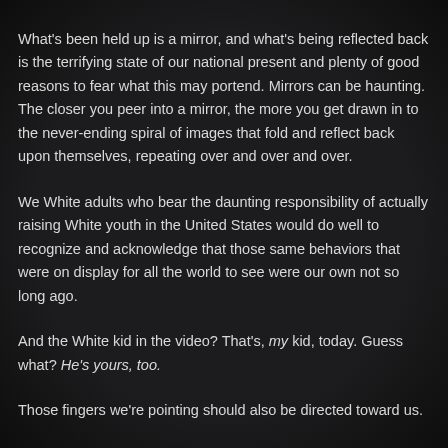What's been held up is a mirror, and what's being reflected back is the terrifying state of our national present and plenty of good reasons to fear what this may portend. Mirrors can be haunting. The closer you peer into a mirror, the more you get drawn in to the never-ending spiral of images that fold and reflect back upon themselves, repeating over and over and over.
We White adults who bear the daunting responsibility of actually raising White youth in the United States would do well to recognize and acknowledge that those same behaviors that were on display for all the world to see were our own not so long ago.
And the White kid in the video? That's, my kid, today. Guess what? He's yours, too.
Those fingers we're pointing should also be directed toward us.